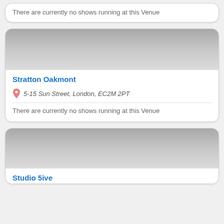There are currently no shows running at this Venue
Stratton Oakmont
5-15 Sun Street, London, EC2M 2PT
There are currently no shows running at this Venue
Studio 5ive